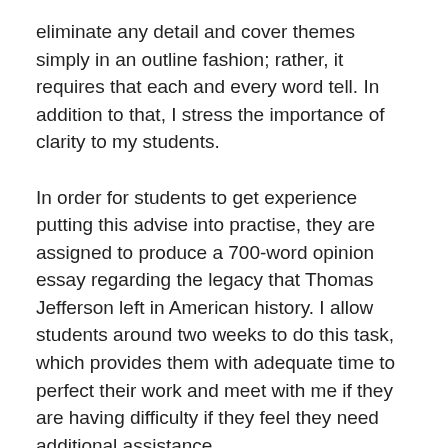eliminate any detail and cover themes simply in an outline fashion; rather, it requires that each and every word tell. In addition to that, I stress the importance of clarity to my students.
In order for students to get experience putting this advise into practise, they are assigned to produce a 700-word opinion essay regarding the legacy that Thomas Jefferson left in American history. I allow students around two weeks to do this task, which provides them with adequate time to perfect their work and meet with me if they are having difficulty if they feel they need additional assistance.
However, before I let students go on their way, I take about twenty-five minutes to draught my own response, which I then project for students to watch as I write it. I demonstrate the importance of spending time crafting